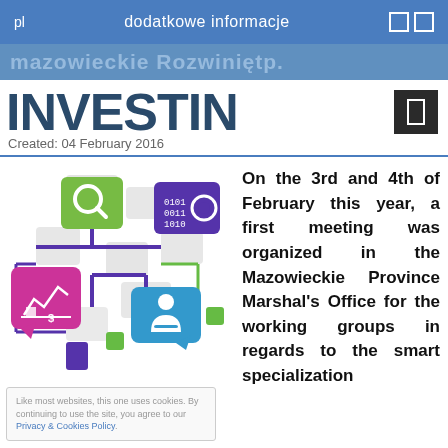pl   dodatkowe informacje
INVESTIN
Created: 04 February 2016
[Figure (infographic): Colorful infographic with connected boxes showing tech/business icons: magnifying glass, binary code gear, finance chart with dollar sign, businessman icon, connected with purple and green lines]
Like most websites, this one uses cookies. By continuing to use the site, you agree to our Privacy & Cookies Policy.
On the 3rd and 4th of February this year, a first meeting was organized in the Mazowieckie Province Marshal's Office for the working groups in regards to the smart specialization